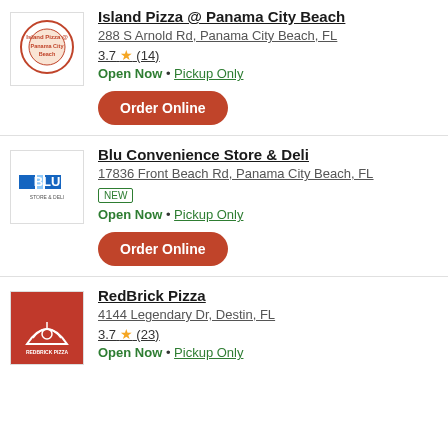[Figure (logo): Island Pizza @ Panama City Beach logo]
Island Pizza @ Panama City Beach
288 S Arnold Rd, Panama City Beach, FL
3.7 ★ (14)
Open Now • Pickup Only
Order Online
[Figure (logo): BLU Convenience Store & Deli logo]
Blu Convenience Store & Deli
17836 Front Beach Rd, Panama City Beach, FL
NEW
Open Now • Pickup Only
Order Online
[Figure (logo): RedBrick Pizza logo]
RedBrick Pizza
4144 Legendary Dr, Destin, FL
3.7 ★ (23)
Open Now • Pickup Only